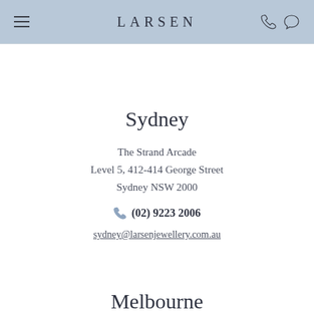LARSEN
Sydney
The Strand Arcade
Level 5, 412-414 George Street
Sydney NSW 2000
(02) 9223 2006
sydney@larsenjewellery.com.au
Melbourne